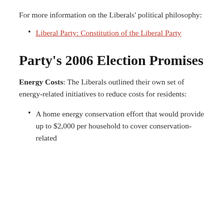For more information on the Liberals' political philosophy:
Liberal Party: Constitution of the Liberal Party
Party's 2006 Election Promises
Energy Costs: The Liberals outlined their own set of energy-related initiatives to reduce costs for residents:
A home energy conservation effort that would provide up to $2,000 per household to cover conservation-related expenses.